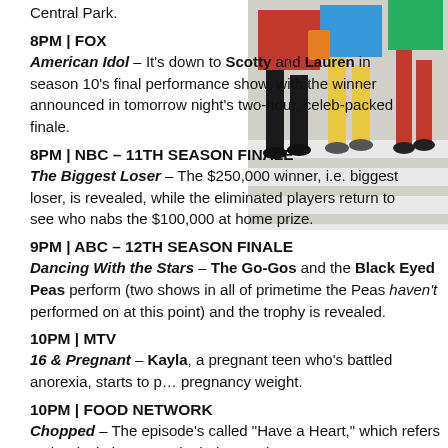Central Park.
[Figure (photo): Photo of people walking on a striped crosswalk, colorful clothing visible from the waist down]
8PM | FOX
American Idol – It's down to Scotty and Lauren in season 10's final performance show, with the winner announced in tomorrow night's two-hour, celeb-packed finale.
8PM | NBC – 11TH SEASON FINALE
The Biggest Loser – The $250,000 winner, i.e. biggest loser, is revealed, while the eliminated players return to see who nabs the $100,000 at home prize.
9PM | ABC – 12TH SEASON FINALE
Dancing With the Stars – The Go-Gos and the Black Eyed Peas perform (two shows in all of primetime the Peas haven't performed on at this point) and the trophy is revealed.
10PM | MTV
16 & Pregnant – Kayla, a pregnant teen who's battled anorexia, starts to panic about pregnancy weight.
10PM | FOOD NETWORK
Chopped – The episode's called "Have a Heart," which refers to the duck ti... to use in their appetizers.